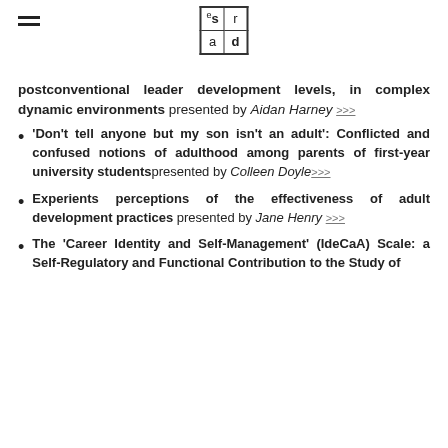esrad logo with hamburger menu
postconventional leader development levels, in complex dynamic environments presented by Aidan Harney >>>
'Don't tell anyone but my son isn't an adult': Conflicted and confused notions of adulthood among parents of first-year university students presented by Colleen Doyle >>>
Experients perceptions of the effectiveness of adult development practices presented by Jane Henry >>>
The 'Career Identity and Self-Management' (IdeCaA) Scale: a Self-Regulatory and Functional Contribution to the Study of